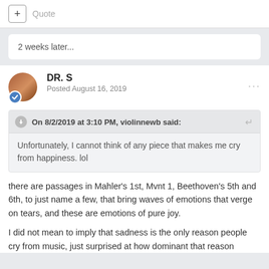+ Quote
2 weeks later...
DR. S
Posted August 16, 2019
On 8/2/2019 at 3:10 PM, violinnewb said:
Unfortunately, I cannot think of any piece that makes me cry from happiness. lol
there are passages in Mahler's 1st, Mvnt 1, Beethoven's 5th and 6th, to just name a few, that bring waves of emotions that verge on tears, and these are emotions of pure joy.
I did not mean to imply that sadness is the only reason people cry from music, just surprised at how dominant that reason